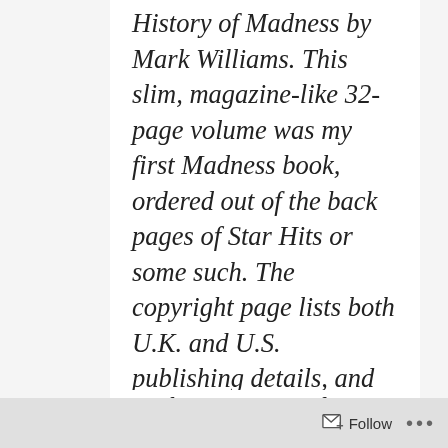History of Madness by Mark Williams. This slim, magazine-like 32-page volume was my first Madness book, ordered out of the back pages of Star Hits or some such. The copyright page lists both U.K. and U.S. publishing details, and retail prices of £1.95 and $3.95 both appear on the back, so I suppose this was an American publication rather than an import.
In this time capsule just before
Follow  ···